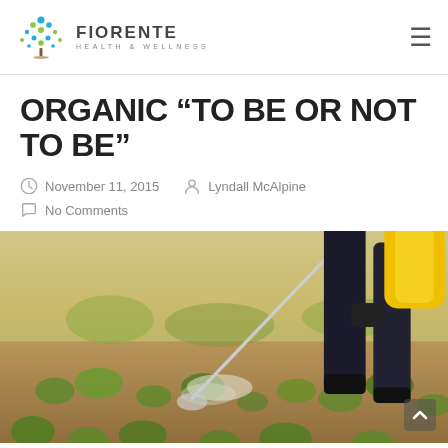FIORENTE HEALTH & WELLNESS
ORGANIC “TO BE OR NOT TO BE”
November 11, 2015  Lyndall McAlpine
No Comments
[Figure (photo): Person spraying pesticide or herbicide on a field of young crops, wearing black pants, holding a yellow sprayer tank, with green plants and sandy soil visible.]